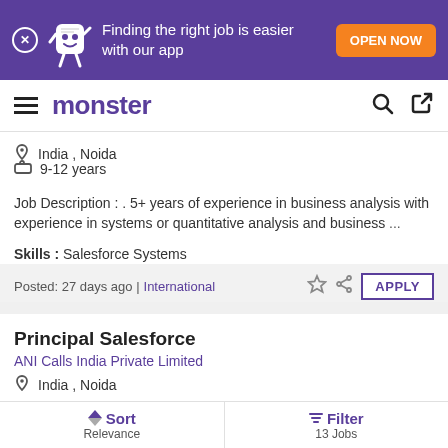[Figure (screenshot): Monster job board app banner with purple background, mascot, and orange OPEN NOW button]
monster
India , Noida
9-12 years
Job Description : . 5+ years of experience in business analysis with experience in systems or quantitative analysis and business ...
Skills : Salesforce Systems
Posted: 27 days ago | International
Principal Salesforce
ANI Calls India Private Limited
India , Noida
Sort Relevance | Filter 13 Jobs